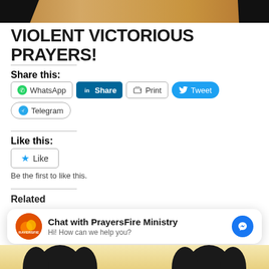[Figure (photo): Top image strip showing a decorative background with dark silhouettes on the sides and a wooden/warm-toned center]
VIOLENT VICTORIOUS PRAYERS!
Share this:
[Figure (screenshot): Social share buttons: WhatsApp, LinkedIn Share, Print, Tweet, Telegram]
Like this:
[Figure (screenshot): Like button with star icon]
Be the first to like this.
Related
[Figure (screenshot): Chat with PrayersFire Ministry widget. Hi! How can we help you? with Messenger icon]
[Figure (photo): Bottom image strip with silhouettes of people praying against a warm sky background]